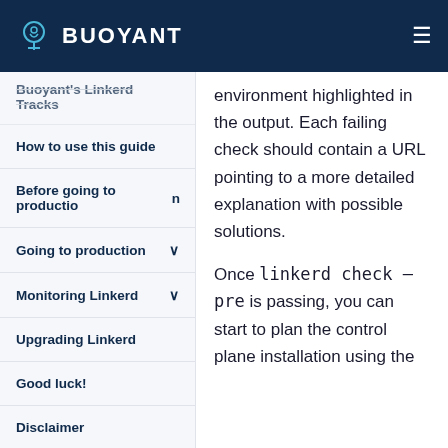BUOYANT
Buoyant's Linkerd Tracks
How to use this guide
Before going to production
Going to production
Monitoring Linkerd
Upgrading Linkerd
Good luck!
Disclaimer
environment highlighted in the output. Each failing check should contain a URL pointing to a more detailed explanation with possible solutions.
Once linkerd check –pre is passing, you can start to plan the control plane installation using the information following.